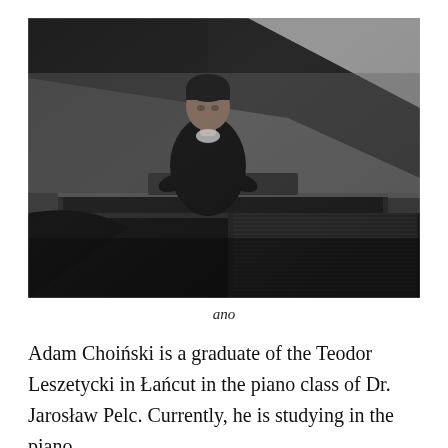[Figure (photo): Black and white photograph of a young man (Adam Choiński) seated at a grand piano, looking up from the piano with the lid open. The image is dramatic with high contrast lighting.]
ano
Adam Choiński is a graduate of the Teodor Leszetycki in Łańcut in the piano class of Dr. Jarosław Pelc. Currently, he is studying in the piano